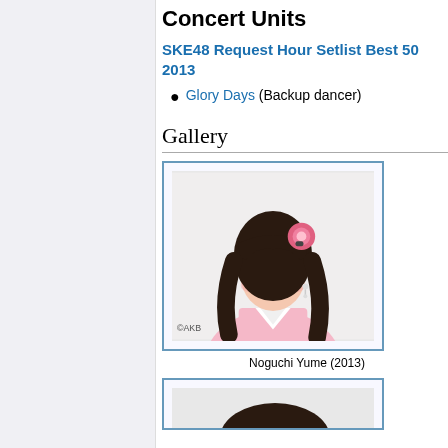Concert Units
SKE48 Request Hour Setlist Best 50 2013
Glory Days (Backup dancer)
Gallery
[Figure (photo): Portrait photo of Noguchi Yume in 2013, a young Japanese idol wearing a pink outfit with a pink flower hair accessory, dark long straight hair with bangs, smiling, with ©AKB watermark in bottom left.]
Noguchi Yume (2013)
[Figure (photo): Partial view of a second portrait photo, showing only the top of dark hair visible at the bottom of the page.]